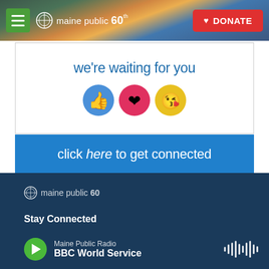[Figure (screenshot): Maine Public website header with hamburger menu, Maine Public 60th anniversary logo, and red DONATE button over a scenic Maine landscape background]
[Figure (screenshot): Social media banner with text 'we're waiting for you', Facebook reaction emojis (like, heart, kiss), and blue section with 'click here to get connected']
[Figure (screenshot): Website footer with Maine Public 60 logo, Stay Connected section, Maine Public Radio BBC World Service player bar with green play button and waveform icon]